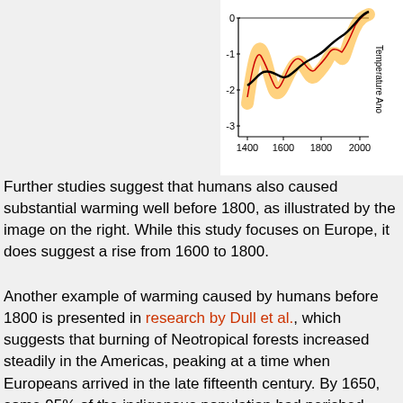[Figure (continuous-plot): Temperature anomaly chart showing multiple reconstructions from 1400 to 2000. Y-axis labeled 'Temperature Anomaly' ranging from -3 to 0. Black bold line shows ensemble mean, red line shows another reconstruction, orange shading shows uncertainty range. X-axis ticks at 1400, 1600, 1800, 2000.]
Further studies suggest that humans also caused substantial warming well before 1800, as illustrated by the image on the right. While this study focuses on Europe, it does suggest a rise from 1600 to 1800.
Another example of warming caused by humans before 1800 is presented in research by Dull et al., which suggests that burning of Neotropical forests increased steadily in the Americas, peaking at a time when Europeans arrived in the late fifteenth century. By 1650, some 95% of the indigenous population had perished. Regrowth of forests led to carbon sequestration of some 2 to 5 Pg C, thereby contributing to a fall in atmospheric carbon dioxide recorded in Antarctic ice cores from about 1500 through 1750.